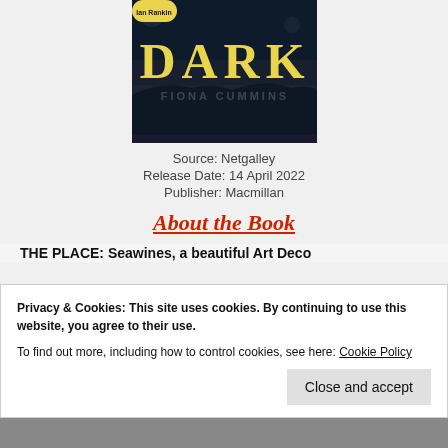[Figure (illustration): Book cover for a novel showing dark atmospheric background with large yellow text 'DARK' and author name 'FIONA CUMMINS' in white text below]
Source: Netgalley
Release Date: 14 April 2022
Publisher: Macmillan
About the Book
THE PLACE: Seawines, a beautiful Art Deco
Privacy & Cookies: This site uses cookies. By continuing to use this website, you agree to their use.
To find out more, including how to control cookies, see here: Cookie Policy
Close and accept